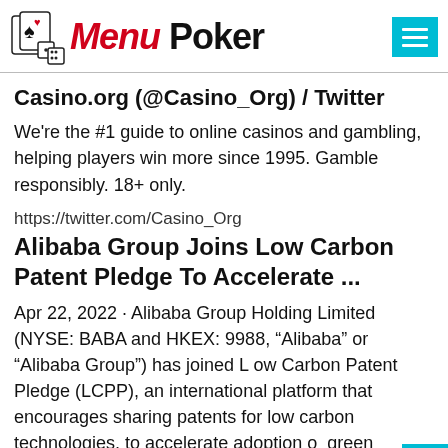[Figure (logo): Menu Poker logo with playing cards and dice icon, red italic 'Menu' and black bold 'Poker' text]
Casino.org (@Casino_Org) / Twitter
We're the #1 guide to online casinos and gambling, helping players win more since 1995. Gamble responsibly. 18+ only.
https://twitter.com/Casino_Org
Alibaba Group Joins Low Carbon Patent Pledge To Accelerate ...
Apr 22, 2022 · Alibaba Group Holding Limited (NYSE: BABA and HKEX: 9988, “Alibaba” or “Alibaba Group”) has joined L ow Carbon Patent Pledge (LCPP), an international platform that encourages sharing patents for low carbon technologies, to accelerate adoption of green technology and foster collaborative innovation by